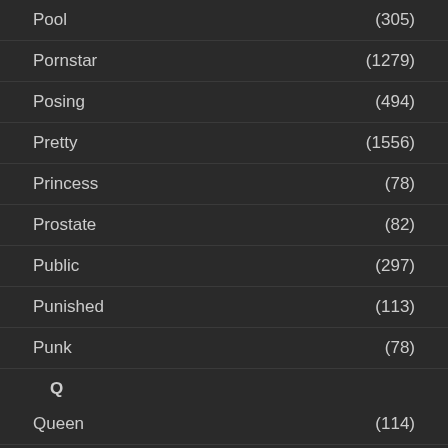Pool (305)
Pornstar (1279)
Posing (494)
Pretty (1556)
Princess (78)
Prostate (82)
Public (297)
Punished (113)
Punk (78)
Q
Queen (114)